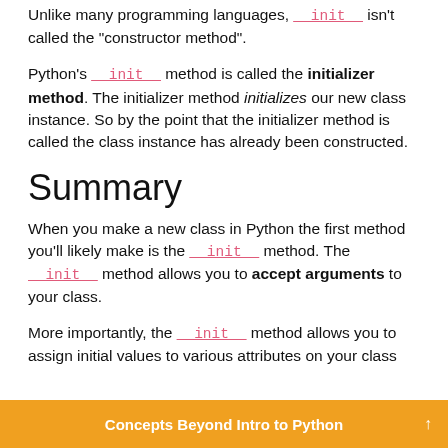Unlike many programming languages, __init__ isn't called the "constructor method".
Python's __init__ method is called the initializer method. The initializer method initializes our new class instance. So by the point that the initializer method is called the class instance has already been constructed.
Summary
When you make a new class in Python the first method you'll likely make is the __init__ method. The __init__ method allows you to accept arguments to your class.
More importantly, the __init__ method allows you to assign initial values to various attributes on your class
Concepts Beyond Intro to Python